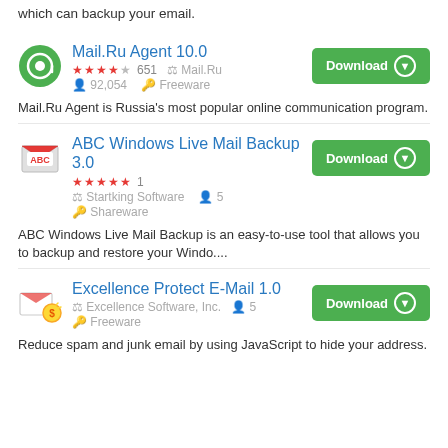which can backup your email.
Mail.Ru Agent 10.0 — ★★★★☆ 651 · Mail.Ru · 92,054 · Freeware — Mail.Ru Agent is Russia's most popular online communication program.
ABC Windows Live Mail Backup 3.0 — ★★★★★ 1 · Startking Software · 5 · Shareware — ABC Windows Live Mail Backup is an easy-to-use tool that allows you to backup and restore your Windo....
Excellence Protect E-Mail 1.0 — Excellence Software, Inc. · 5 · Freeware — Reduce spam and junk email by using JavaScript to hide your address.